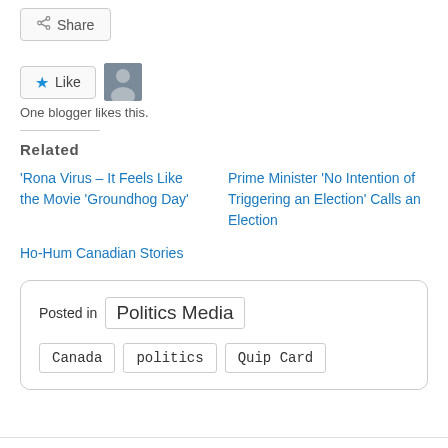Share this:
Share
Like
One blogger likes this.
Related
'Rona Virus – It Feels Like the Movie 'Groundhog Day'
Prime Minister 'No Intention of Triggering an Election' Calls an Election
Ho-Hum Canadian Stories
Posted in Politics Media
Canada  politics  Quip Card